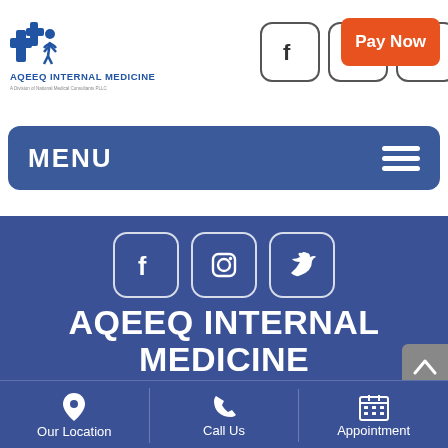[Figure (logo): Aqeeq Internal Medicine logo with blue cross and figure icon, text AQEEQ INTERNAL MEDICINE and subtitle A Division of National Medical Consultants PLLC]
[Figure (infographic): Social media icons: Facebook, Instagram, Twitter in rounded square boxes (top header)]
[Figure (other): Pay Now button in orange/red]
MENU
[Figure (infographic): Social media icons: Facebook, Instagram, Twitter in rounded square boxes (blue section)]
AQEEQ INTERNAL MEDICINE
[Figure (infographic): Footer with three columns: Our Location (map pin icon), Call Us (phone icon), Appointment (calendar icon)]